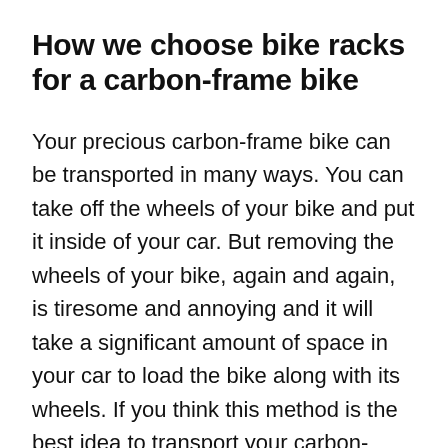How we choose bike racks for a carbon-frame bike
Your precious carbon-frame bike can be transported in many ways. You can take off the wheels of your bike and put it inside of your car. But removing the wheels of your bike, again and again, is tiresome and annoying and it will take a significant amount of space in your car to load the bike along with its wheels. If you think this method is the best idea to transport your carbon-frame bike, then you are obviously mistaken. As you have